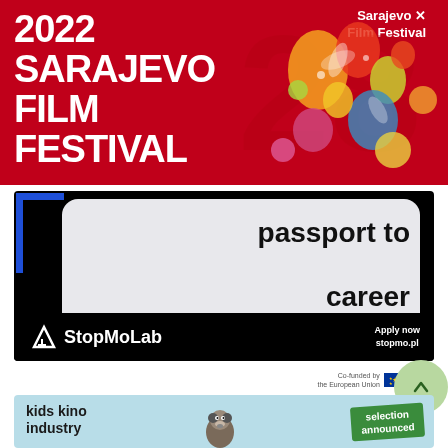[Figure (illustration): 2022 Sarajevo Film Festival promotional banner/poster with red background, white bold text reading '2022 SARAJEVO FILM FESTIVAL', decorative floral number '28' on the right, and Sarajevo Film Festival logo in top right corner.]
[Figure (illustration): StopMoLab 'passport to career' advertisement on black background with light gray rounded rectangle containing bold text 'passport to career', blue L-shaped accent lines, StopMoLab logo at bottom left, and 'Apply now stopmo.pl' text at bottom right.]
Co-funded by the European Union
[Figure (illustration): Kids Kino Industry banner with light blue background, bold text 'kids kino industry', raccoon illustration, and green 'selection announced' flag graphic.]